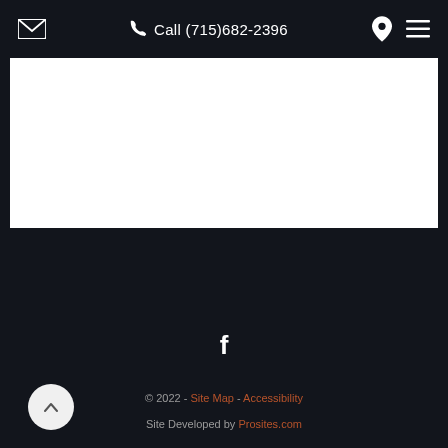Call (715)682-2396
[Figure (screenshot): White content area placeholder]
[Figure (illustration): Facebook icon (f) in white on dark background]
© 2022 - Site Map - Accessibility
Site Developed by Prosites.com